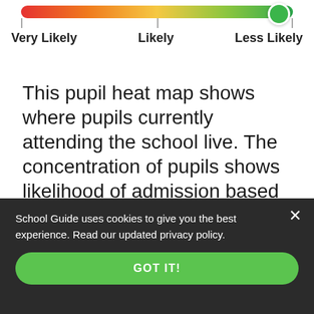[Figure (other): A gradient bar ranging from red (left) to green (right) representing likelihood of school admission. Labels below: Very Likely (left), Likely (center), Less Likely (right). A green circular handle is positioned at the far right.]
This pupil heat map shows where pupils currently attending the school live. The concentration of pupils shows likelihood of admission based on distance criteria
Source: All attending pupils National School Census Data 2021, ONS
❯❯ Local Authority Contact
School Guide uses cookies to give you the best experience. Read our updated privacy policy.
GOT IT!